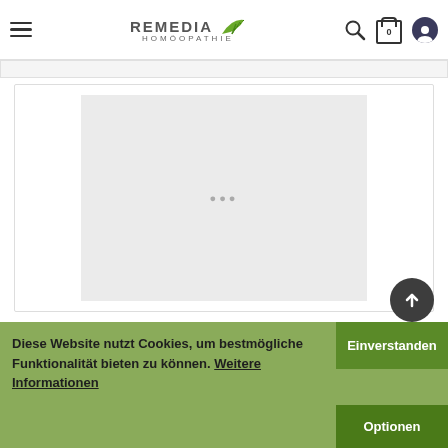REMEDIA HOMÖOPATHIE
[Figure (screenshot): Loading or placeholder product image area with gray background and three dots in center]
Diese Website nutzt Cookies, um bestmögliche Funktionalität bieten zu können. Weitere Informationen
Einverstanden
Optionen